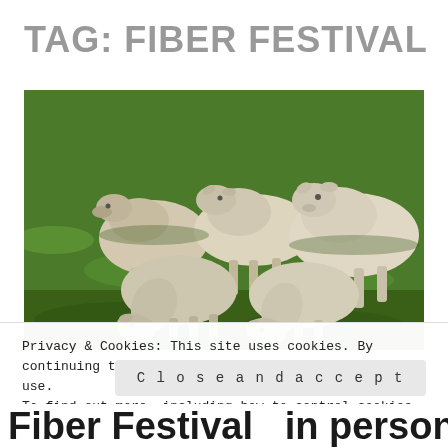TAG: FIBER FESTIVAL
[Figure (photo): A flock of white sheep grazing on bright green grass, some with heads down eating, others standing. Close-up field photo.]
Privacy & Cookies: This site uses cookies. By continuing to use this website, you agree to their use.
To find out more, including how to control cookies, see here: Cookie Policy
Close and accept
Fiber Festival   in person